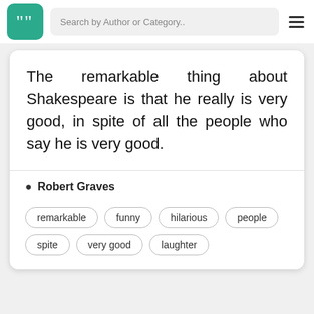Search by Author or Category..
The remarkable thing about Shakespeare is that he really is very good, in spite of all the people who say he is very good.
Robert Graves
remarkable
funny
hilarious
people
spite
very good
laughter